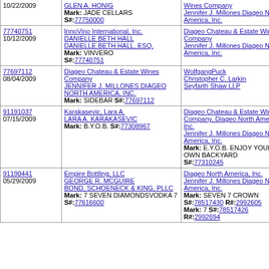| Filing Info | Applicant | Defendant |
| --- | --- | --- |
| 10/22/2009 | GLEN A. HONIG
Mark: JADE CELLARS S#:77750000 | Wines Company
Jennifer J. Millones Diageo North America, Inc. |
| 77740751
10/12/2009 | InnoVino International, Inc.
DANIELLE BETH HALL
DANIELLE BETH HALL, ESQ.
Mark: VINVERO S#:77740751 | Diageo Chateau & Estate Wines Company
Jennifer J. Millones Diageo North America, Inc. |
| 77697112
08/04/2009 | Diageo Chateau & Estate Wines Company
JENNIFER J. MILLONES
DIAGEO NORTH AMERICA, INC.
Mark: SIDEBAR S#:77697112 | WolfgangPuck
Christopher C. Larkin
Seyfarth Shaw LLP |
| 91191037
07/15/2009 | Karakasevic, Lara A.
LARA A. KARAKASEVIC
Mark: B.Y.O.B. S#:77308967 | Diageo Chateau & Estate Wines Company, Diageo North America, Inc.
Jennifer J. Millones Diageo North America, Inc.
Mark: E.Y.O.B. ENJOY YOUR OWN BACKYARD S#:77310245 |
| 91190441
05/29/2009 | Empire Bottling, LLC
GEORGE R. MCGUIRE
BOND, SCHOENECK & KING, PLLC
Mark: 7 SEVEN DIAMONDSVODKA 7 S#:77616600 | Diageo North America, Inc.
Jennifer J. Millones Diageo North America, Inc.
Mark: SEVEN 7 CROWN S#:78517430 R#:2992605
Mark: 7 S#:78517426 R#:2992694 |